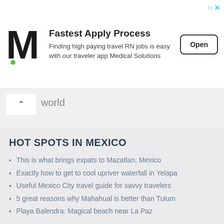[Figure (other): Advertisement banner for Medical Solutions. Shows stylized M logo, headline 'Fastest Apply Process', subtext 'Finding high paying travel RN jobs is easy with our traveler app Medical Solutions', and an 'Open' button.]
world
HOT SPOTS IN MEXICO
This is what brings expats to Mazatlan, Mexico
Exactly how to get to cool upriver waterfall in Yelapa
Useful Mexico City travel guide for savvy travelers
5 great reasons why Mahahual is better than Tulum
Playa Balendra: Magical beach near La Paz